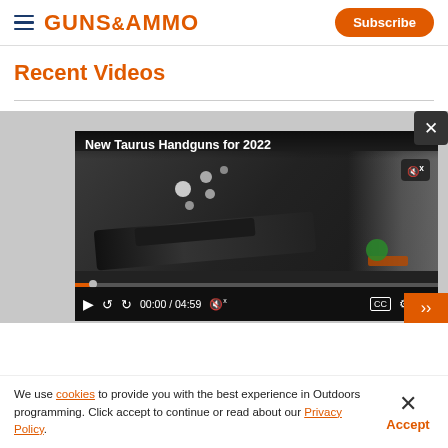GUNS&AMMO | Subscribe
Recent Videos
[Figure (screenshot): Video player showing 'New Taurus Handguns for 2022' with video thumbnail of a handgun, controls showing 00:00 / 04:59, mute button, CC button, settings and fullscreen icons.]
We use cookies to provide you with the best experience in Outdoors programming. Click accept to continue or read about our Privacy Policy.